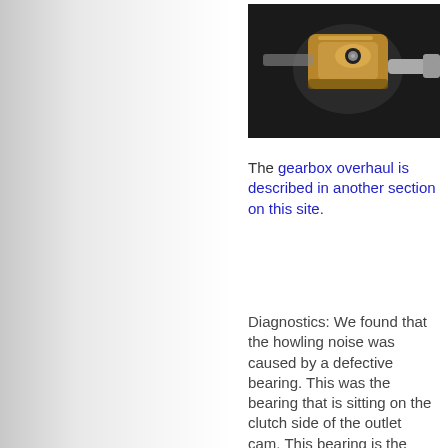[Figure (photo): Close-up photo of a mechanical component, likely a BMW gearbox or cam outlet bearing assembly, showing metallic parts against a dark background.]
The gearbox overhaul is described in another section on this site.
Diagnostics: We found that the howling noise was caused by a defective bearing. This was the bearing that is sitting on the clutch side of the outlet cam. This bearing is the "classical" point of failure for BMW